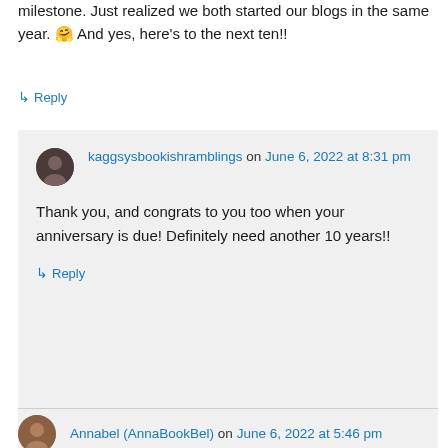milestone. Just realized we both started our blogs in the same year. 🤗 And yes, here's to the next ten!!
↳ Reply
kaggsysbookishramblings on June 6, 2022 at 8:31 pm
Thank you, and congrats to you too when your anniversary is due! Definitely need another 10 years!!
↳ Reply
Annabel (AnnaBookBel) on June 6, 2022 at 5:46 pm